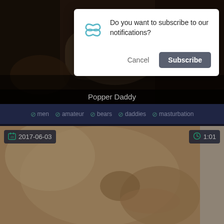[Figure (screenshot): Video thumbnail for 'Popper Daddy' — dark toned video still]
Popper Daddy
men  amateur  bears  daddies  masturbation
[Figure (screenshot): Video thumbnail dated 2017-06-03, duration 1:01]
2017-06-03
1:01
[Figure (screenshot): Browser push notification dialog asking 'Do you want to subscribe to our notifications?' with Cancel and Subscribe buttons]